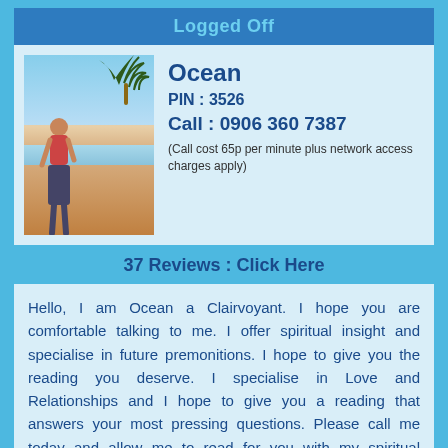Logged Off
[Figure (photo): Photo of a woman standing on a beach near palm trees at sunset]
Ocean
PIN : 3526
Call : 0906 360 7387
(Call cost 65p per minute plus network access charges apply)
37 Reviews : Click Here
Hello, I am Ocean a Clairvoyant. I hope you are comfortable talking to me. I offer spiritual insight and specialise in future premonitions. I hope to give you the reading you deserve. I specialise in Love and Relationships and I hope to give you a reading that answers your most pressing questions. Please call me today and allow me to read for you with my spiritual abilities. PIN: 3526
Click : Have Your Questions Answered